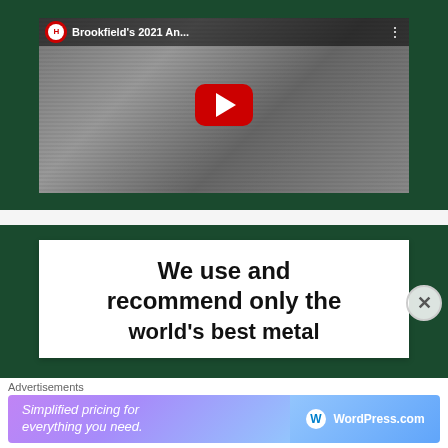[Figure (screenshot): YouTube video embed showing 'Brookfield's 2021 An...' with a black-and-white video thumbnail showing people in a field, YouTube play button overlay, and channel icon]
[Figure (screenshot): Advertisement card on dark green background reading 'We use and recommend only the world's best metal' (text cut off at bottom)]
Advertisements
[Figure (screenshot): WordPress.com advertisement banner with gradient background reading 'Simplified pricing for everything you need.' with WordPress.com logo]